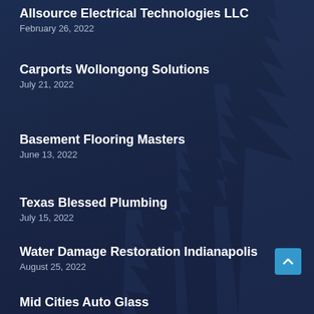Allsource Electrical Technologies LLC
February 26, 2022
Carports Wollongong Solutions
July 21, 2022
Basement Flooring Masters
June 13, 2022
Texas Blessed Plumbing
July 15, 2022
Water Damage Restoration Indianapolis
August 25, 2022
Mid Cities Auto Glass